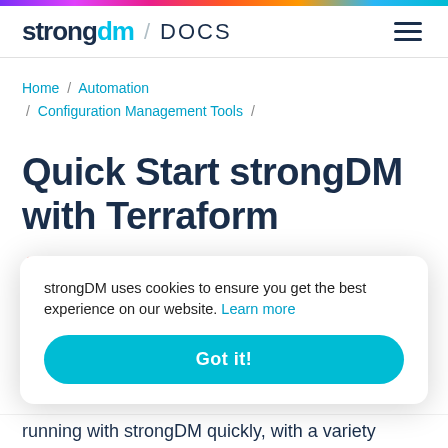strongdm / DOCS
Home / Automation / Configuration Management Tools /
Quick Start strongDM with Terraform
Last modified on August 10, 2022
strongDM uses cookies to ensure you get the best experience on our website. Learn more
Got it!
running with strongDM quickly, with a variety